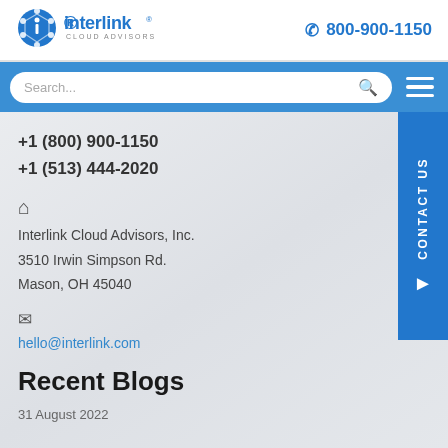[Figure (logo): Interlink Cloud Advisors logo with blue gear/network icon and wordmark]
800-900-1150
[Figure (screenshot): Blue navigation bar with search box and hamburger menu icon]
+1 (800) 900-1150
+1 (513) 444-2020
Interlink Cloud Advisors, Inc.
3510 Irwin Simpson Rd.
Mason, OH 45040
hello@interlink.com
Recent Blogs
31 August 2022